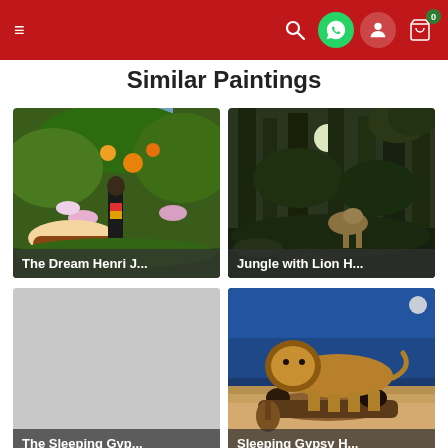Navigation header with hamburger menu, search, whatsapp, user, and cart icons
Similar Paintings
[Figure (illustration): Painting thumbnail: The Dream Henri J... — lush jungle with flowers, a nude reclining figure, and exotic wildlife]
[Figure (illustration): Painting thumbnail: Jungle with Lion H... — dark jungle scene with trees, moonlight, and a lion]
[Figure (illustration): Painting thumbnail: The Sleeping Gyp... — grey placeholder / loading image]
[Figure (illustration): Painting thumbnail: Sleeping Gypsy H... — lion standing over a sleeping figure under a blue night sky]
[Figure (illustration): Partial painting thumbnail at bottom left — dark tones]
[Figure (illustration): Partial painting thumbnail at bottom right — muted tones]